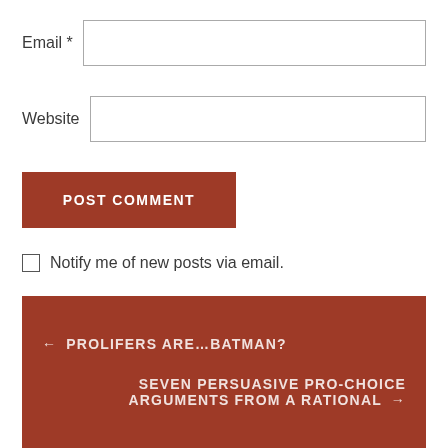Email *
Website
POST COMMENT
Notify me of new posts via email.
← PROLIFERS ARE…BATMAN?
SEVEN PERSUASIVE PRO-CHOICE ARGUMENTS FROM A RATIONAL →